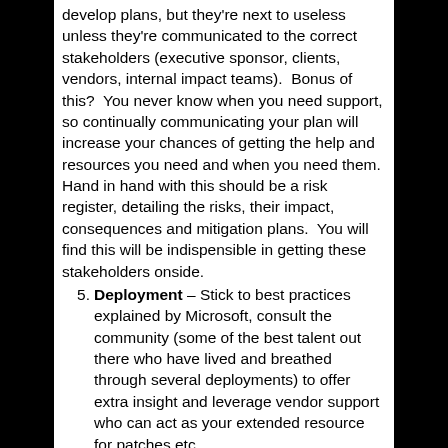develop plans, but they're next to useless unless they're communicated to the correct stakeholders (executive sponsor, clients, vendors, internal impact teams).  Bonus of this?  You never know when you need support, so continually communicating your plan will increase your chances of getting the help and resources you need and when you need them. Hand in hand with this should be a risk register, detailing the risks, their impact, consequences and mitigation plans.  You will find this will be indispensible in getting these stakeholders onside.
Deployment – Stick to best practices explained by Microsoft, consult the community (some of the best talent out there who have lived and breathed through several deployments) to offer extra insight and leverage vendor support who can act as your extended resource for patches etc.